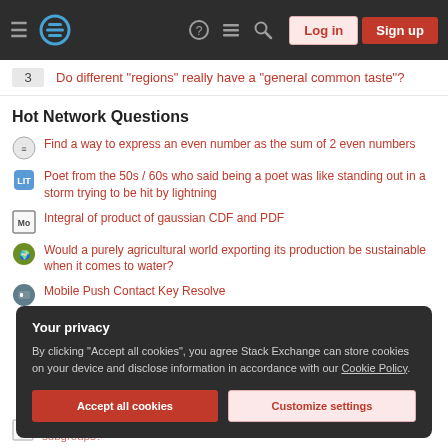Stack Exchange navigation bar with Log in and Sign up buttons
3  Do different "regions" really have a "general common taste"?
Hot Network Questions
Find a way to express an even number as the sum of 2 even numbers
Poet from the 50s / 60s who said being a poet was like standing out in a storm trying to be hit by lightning
Integral of product of gaussian CDF and PDF
Would a purely agricultural world exporting its production be sustainable when it comes to water?
Mobile Push Contact Key Resolve
Your privacy
By clicking "Accept all cookies", you agree Stack Exchange can store cookies on your device and disclose information in accordance with our Cookie Policy.
Is the dihedral group of the Euclidean space generated by the simpler subgroups?